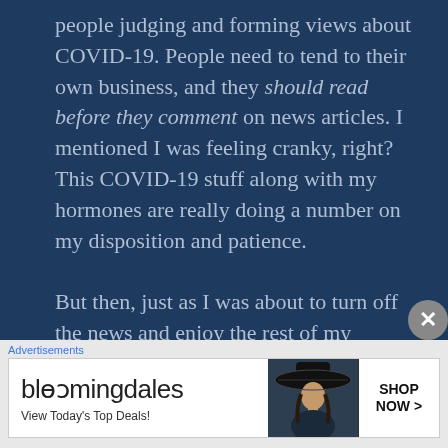people judging and forming views about COVID-19. People need to tend to their own business, and they should read before they comment on news articles. I mentioned I was feeling cranky, right? This COVID-19 stuff along with my hormones are really doing a number on my disposition and patience. But then, just as I was about to turn off the news and enjoy the rest of my Saturday with Bill, I read about how actor Ricky Schroder contributed $150,000 to help bail
Advertisements
[Figure (screenshot): Bloomingdale's advertisement banner with logo, tagline 'View Today's Top Deals!', a woman wearing a large black hat, and a 'SHOP NOW >' button]